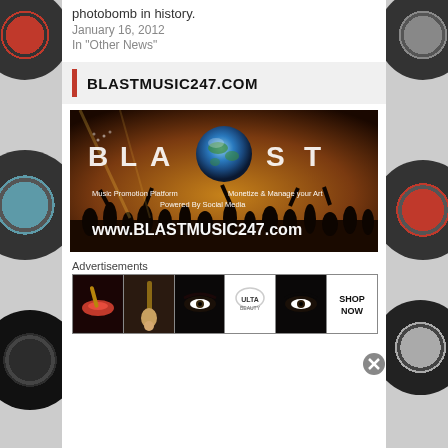photobomb in history.
January 16, 2012
In "Other News"
BLASTMUSIC247.COM
[Figure (illustration): BlastMusic247.com promotional banner showing 'BLAST' text with globe in center over concert crowd. Text: 'Music Promotion Platform  Monetize & Manage your Art  Powered By Social Media  www.BLASTMUSIC247.com']
Advertisements
[Figure (illustration): Advertisement strip showing beauty product ads: lips/makeup brush, eye with brush, eye closeup, ULTA Beauty logo, eye closeup, SHOP NOW button]